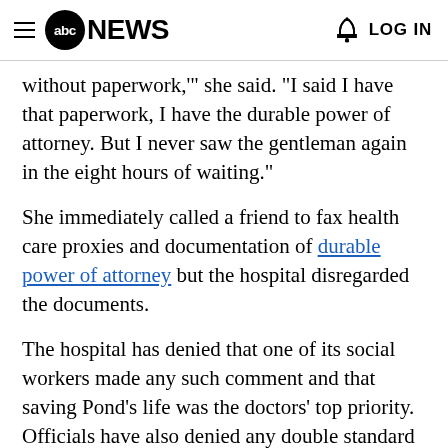abc NEWS  LOG IN
without paperwork,'" she said. "I said I have that paperwork, I have the durable power of attorney. But I never saw the gentleman again in the eight hours of waiting."
She immediately called a friend to fax health care proxies and documentation of durable power of attorney but the hospital disregarded the documents.
The hospital has denied that one of its social workers made any such comment and that saving Pond's life was the doctors' top priority. Officials have also denied any double standard